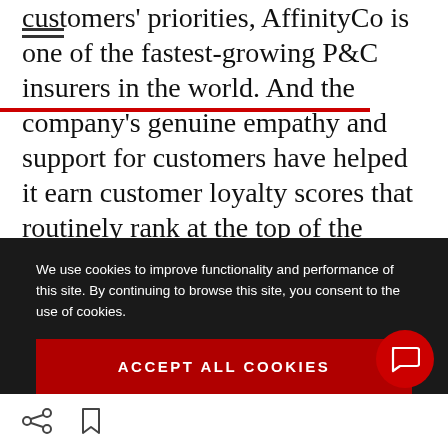customers' priorities, AffinityCo is one of the fastest-growing P&C insurers in the world. And the company's genuine empathy and support for customers have helped it earn customer loyalty scores that routinely rank at the top of the financial services sector.
Equipping staff. Developing an omnichannel approach will involve equipping tied agents and
We use cookies to improve functionality and performance of this site. By continuing to browse this site, you consent to the use of cookies.
ACCEPT ALL COOKIES